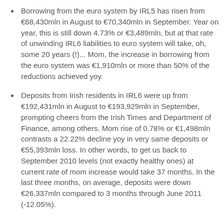Borrowing from the euro system by IRL5 has risen from €68,430mln in August to €70,340mln in September. Year on year, this is still down 4.73% or €3,489mln, but at that rate of unwinding IRL6 liabilities to euro system will take, oh, some 20 years (!)... Mom, the increase in borrowing from the euro system was €1,910mln or more than 50% of the reductions achieved yoy.
Deposits from Irish residents in IRL6 were up from €192,431mln in August to €193,929mln in September, prompting cheers from the Irish Times and Department of Finance, among others. Mom rise of 0.78% or €1,498mln contrasts a 22.22% decline yoy in very same deposits or €55,393mln loss. In other words, to get us back to September 2010 levels (not exactly healthy ones) at current rate of mom increase would take 37 months. In the last three months, on average, deposits were down €26,337mln compared to 3 months through June 2011 (-12.05%).